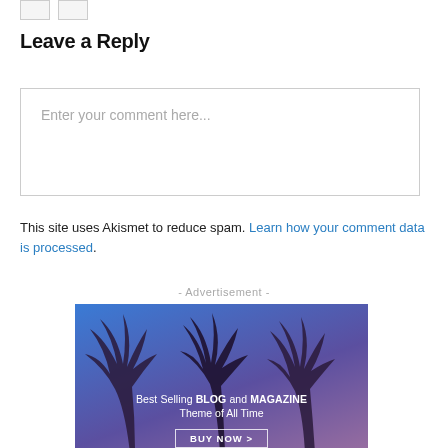Leave a Reply
Enter your comment here...
This site uses Akismet to reduce spam. Learn how your comment data is processed.
- Advertisement -
[Figure (illustration): Advertisement banner with palm trees silhouette against a blue-to-purple gradient background. Text reads: Best Selling BLOG and MAGAZINE Theme of All Time. BUY NOW button at bottom.]